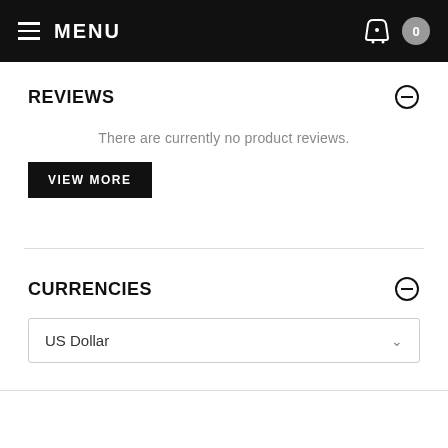MENU
REVIEWS
There are currently no product reviews.
VIEW MORE
CURRENCIES
US Dollar